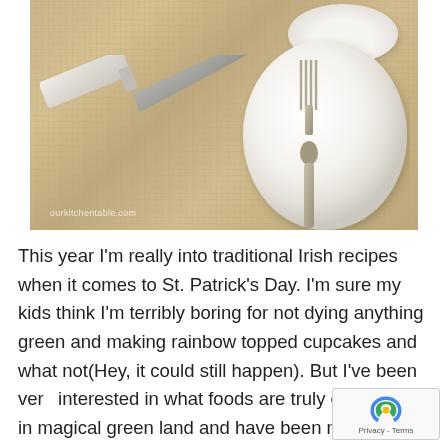[Figure (photo): Close-up photo of a table setting on a burlap/linen placemat showing a white dinner plate, a knife with a white/ivory handle, a fork, and what appears to be a bowl in the upper right corner. Watermark reads 'ourkitchentable.com' in the lower left.]
This year I'm really into traditional Irish recipes when it comes to St. Patrick's Day. I'm sure my kids think I'm terribly boring for not dying anything green and making rainbow topped cupcakes and what not(Hey, it could still happen). But I've been very interested in what foods are truly eaten over in magical green land and have been making a lo...